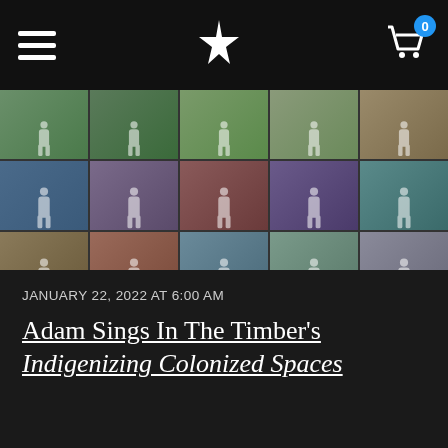Navigation bar with hamburger menu, star logo, and shopping cart with badge 0
[Figure (photo): A 5-column by 4-row grid of photographs showing Indigenous women in traditional regalia, photographed in various outdoor urban and natural settings. The photos show colorful traditional dress including beaded garments, ribbon skirts, and regalia worn in cities and landscapes.]
JANUARY 22, 2022 AT 6:00 AM
Adam Sings In The Timber's Indigenizing Colonized Spaces